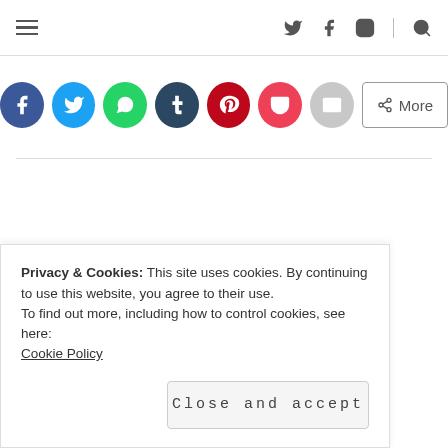Navigation bar with hamburger menu and social icons (Twitter, Facebook, Instagram, Search)
[Figure (infographic): Social share buttons row: Facebook (blue), Twitter (light blue), WhatsApp (green), Tumblr (dark navy), Pinterest (red), Pocket (red), Email (gray), and a More button]
← PREVIOUS POST
Get outside
Privacy & Cookies: This site uses cookies. By continuing to use this website, you agree to their use.
To find out more, including how to control cookies, see here:
Cookie Policy
Close and accept